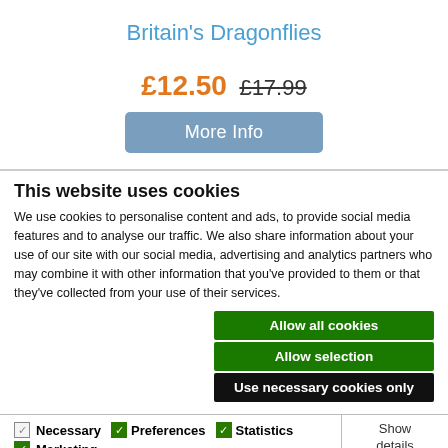Britain's Dragonflies
£12.50  £17.99
More Info
This website uses cookies
We use cookies to personalise content and ads, to provide social media features and to analyse our traffic. We also share information about your use of our site with our social media, advertising and analytics partners who may combine it with other information that you've provided to them or that they've collected from your use of their services.
Allow all cookies
Allow selection
Use necessary cookies only
Necessary  Preferences  Statistics  Marketing  Show details